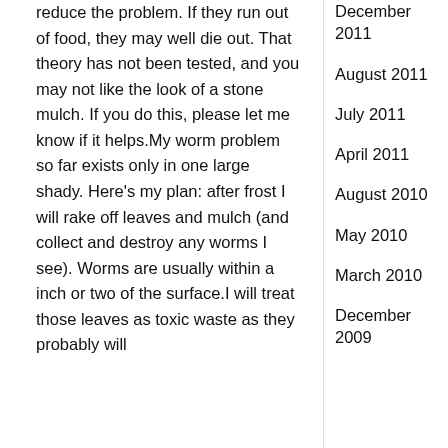reduce the problem. If they run out of food, they may well die out. That theory has not been tested, and you may not like the look of a stone mulch. If you do this, please let me know if it helps.My worm problem so far exists only in one large shady. Here's my plan: after frost I will rake off leaves and mulch (and collect and destroy any worms I see). Worms are usually within a inch or two of the surface.I will treat those leaves as toxic waste as they probably will
December 2011
August 2011
July 2011
April 2011
August 2010
May 2010
March 2010
December 2009